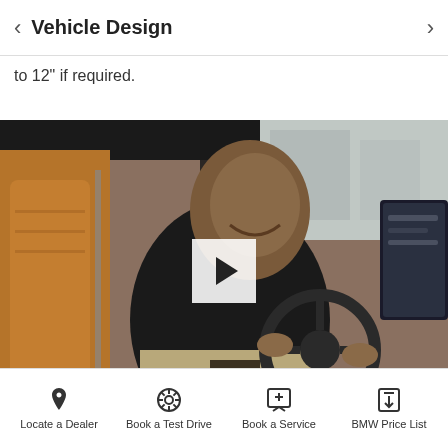Vehicle Design
combined to improve operation are the solid seats for central information display, which can even be enlarged to 12" if required.
[Figure (photo): A smiling bald man sitting in the driver seat of a BMW, touching the infotainment display. Brown leather seats visible. A play button overlay indicates this is a video thumbnail.]
Interior design
Locate a Dealer   Book a Test Drive   Book a Service   BMW Price List